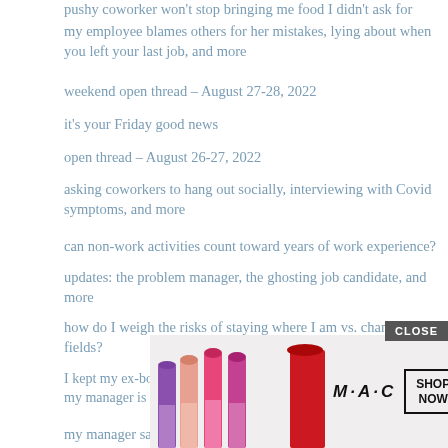pushy coworker won't stop bringing me food I didn't ask for
my employee blames others for her mistakes, lying about when you left your last job, and more
weekend open thread – August 27-28, 2022
it's your Friday good news
open thread – August 26-27, 2022
asking coworkers to hang out socially, interviewing with Covid symptoms, and more
can non-work activities count toward years of work experience?
updates: the problem manager, the ghosting job candidate, and more
how do I weigh the risks of staying where I am vs. changing fields?
I kept my ex-boss's affair a secret and now I work with her husband, my manager is upset about my new salary, and more
my manager says my shyness is seen as rudeness
can I push back on in-office work?
my co… job instead…
[Figure (advertisement): MAC cosmetics advertisement showing lipsticks with SHOP NOW button and CLOSE button overlay]